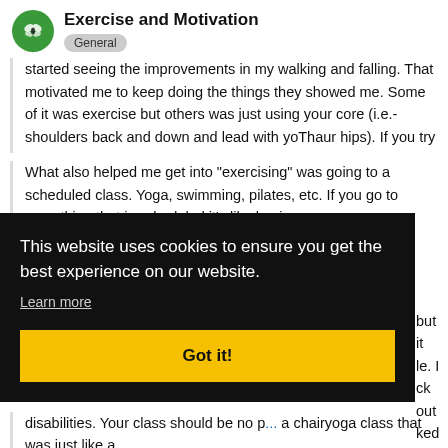Exercise and Motivation — General
started seeing the improvements in my walking and falling. That motivated me to keep doing the things they showed me. Some of it was exercise but others was just using your core (i.e.- shoulders back and down and lead with yoThaur hips). If you try PT make sure they specialize in neurological conditions not orthopedic.
What also helped me get into "exercising" was going to a scheduled class. Yoga, swimming, pilates, etc. If you go to something that is scheduled it's like having an
...but it ...le. I ...ck out ...ked ...ne ...e a
This website uses cookies to ensure you get the best experience on our website. Learn more
Got it!
disabilities. Your class should be no p... a chairyoga class that was just like a...